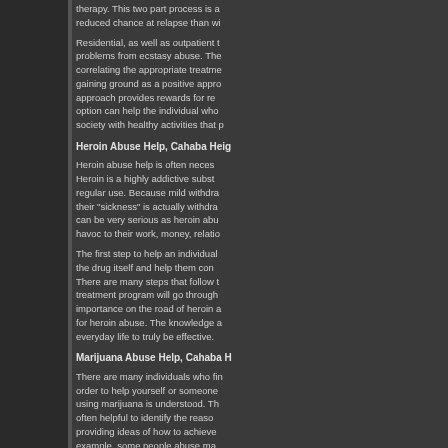therapy. This two part process is a reduced chance at relapse than wi
Residential, as well as outpatient t problems from ecstasy abuse. The correlating the appropriate treatme gaining ground as a positive appro approach provides rewards for re option can help the individual who society with healthy activities that p
Heroin Abuse Help, Cahaba Heig
Heroin abuse help is often neces Heroin is a highly addictive subst regular use. Because mild withdra their "sickness" is actually withdra can be very serious as heroin abu havoc to their work, money, relatio
The first step to help an individual the drug itself and help them con There are many steps that follow t treatment program will go through importance on the road of heroin a for heroin abuse. The knowledge a everyday life to truly be effective.
Marijuana Abuse Help, Cahaba H
There are many individuals who fin order to help yourself or someone using marijuana is understood. Th often helpful to identify the reaso providing ideas of how to achieve example, some people abuse ma relaxing without smoking marijua enhance conversation and social years of smoking, the quality of re